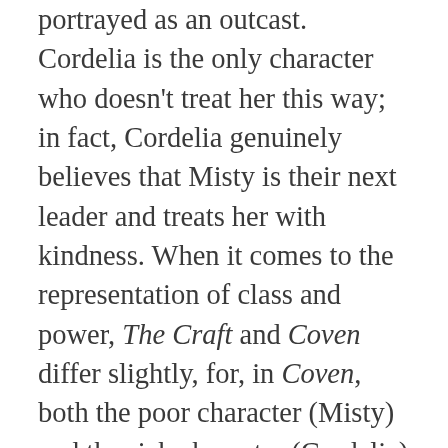portrayed as an outcast. Cordelia is the only character who doesn't treat her this way; in fact, Cordelia genuinely believes that Misty is their next leader and treats her with kindness. When it comes to the representation of class and power, The Craft and Coven differ slightly, for, in Coven, both the poor character (Misty) and the rich character (Cordelia) are considered good, unlike Nancy and Sarah who fall on opposite sides of that spectrum. Misty, unlike Nancy, is pure of heart, and she uses her magic to help people, rather than hurt them; yet, Misty ends up dying